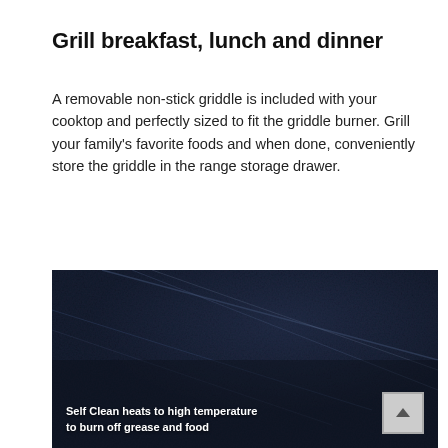Grill breakfast, lunch and dinner
A removable non-stick griddle is included with your cooktop and perfectly sized to fit the griddle burner. Grill your family's favorite foods and when done, conveniently store the griddle in the range storage drawer.
[Figure (photo): Close-up dark image of a non-stick griddle surface with text overlay reading 'Self Clean heats to high temperature to burn off grease and food'. A scroll-to-top button is visible in the bottom-right corner.]